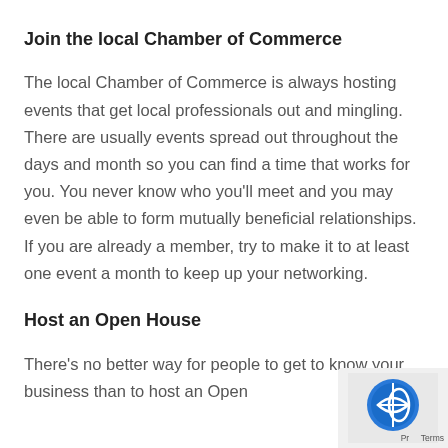Join the local Chamber of Commerce
The local Chamber of Commerce is always hosting events that get local professionals out and mingling. There are usually events spread out throughout the days and month so you can find a time that works for you. You never know who you’ll meet and you may even be able to form mutually beneficial relationships. If you are already a member, try to make it to at least one event a month to keep up your networking.
Host an Open House
There’s no better way for people to get to know your business than to host an Open